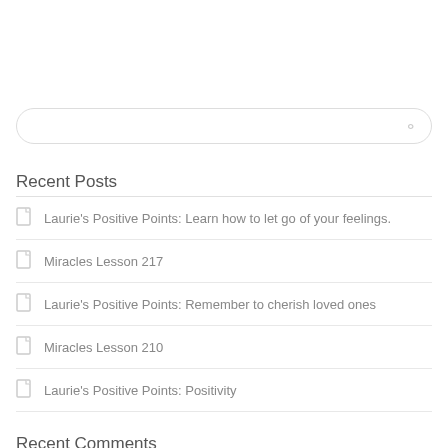[Figure (other): Search input box with rounded border and search icon on right]
Recent Posts
Laurie's Positive Points: Learn how to let go of your feelings.
Miracles Lesson 217
Laurie's Positive Points: Remember to cherish loved ones
Miracles Lesson 210
Laurie's Positive Points: Positivity
Recent Comments